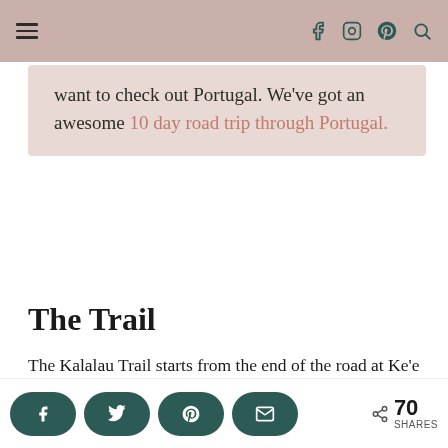Navigation bar with hamburger menu and social icons (Facebook, Instagram, Pinterest, Search)
want to check out Portugal. We've got an awesome 10 day road trip through Portugal.
The Trail
The Kalalau Trail starts from the end of the road at Ke'e Beach.  The two mile hike begins with...
Share buttons: Facebook, Twitter, Pinterest, Email | 70 SHARES